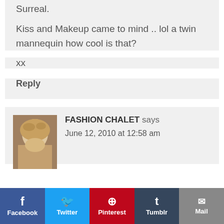Surreal.
Kiss and Makeup came to mind .. lol a twin mannequin how cool is that?
xx
Reply
FASHION CHALET says
June 12, 2010 at 12:58 am
Facebook  Twitter  Pinterest  Tumblr  Mail